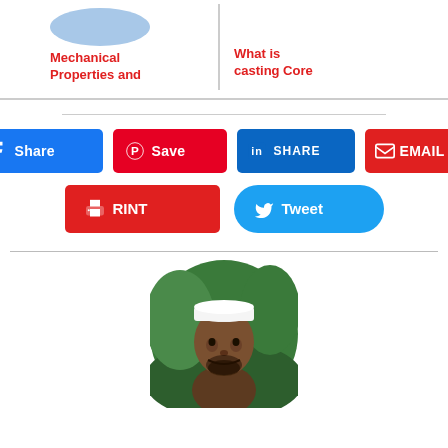[Figure (screenshot): Top navigation cards showing article thumbnails: 'Mechanical Properties and' and 'What is casting Core']
[Figure (infographic): Social sharing buttons: Facebook Share, Pinterest Save, LinkedIn SHARE, EMAIL, PRINT, Tweet]
[Figure (photo): Circular author profile photo of a man wearing a white cap]